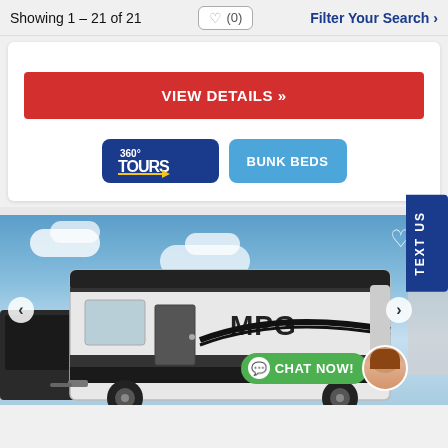Showing 1 – 21 of 21
Filter Your Search >
VIEW DETAILS »
[Figure (logo): 360° TOURS badge logo in dark blue rounded rectangle]
[Figure (logo): BUNK BEDS badge in blue rounded rectangle]
[Figure (photo): MPG brand travel trailer RV parked outdoors against a blue sky with clouds. Navigation arrows on sides. Heart icon top right. Chat Now widget bottom right with female avatar.]